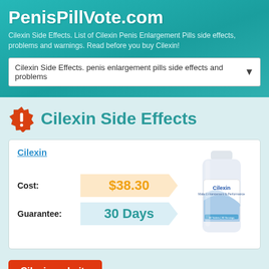PenisPillVote.com
Cilexin Side Effects. List of Cilexin Penis Enlargement Pills side effects, problems and warnings. Read before you buy Cilexin!
Cilexin Side Effects. penis enlargement pills side effects and problems
Cilexin Side Effects
Cilexin
| Label | Value |
| --- | --- |
| Cost: | $38.30 |
| Guarantee: | 30 Days |
[Figure (illustration): Cilexin supplement bottle - white cylindrical bottle with blue wave design label reading Cilexin Male Enhancement & Performance]
Cilexin website